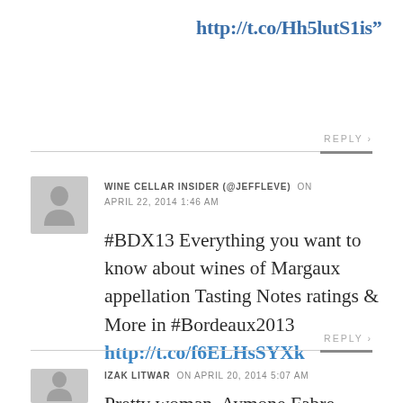http://t.co/Hh5lutS1is"
REPLY
WINE CELLAR INSIDER (@JEFFLEVE) on APRIL 22, 2014 1:46 AM
#BDX13 Everything you want to know about wines of Margaux appellation Tasting Notes ratings & More in #Bordeaux2013 http://t.co/f6ELHsSYXk
REPLY
IZAK LITWAR on APRIL 20, 2014 5:07 AM
Pretty woman, Aymone Fabre, from Equippe Labegorce